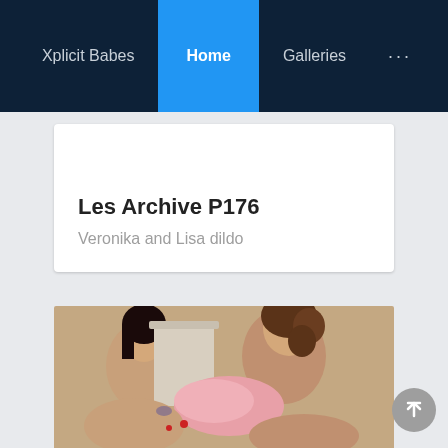Xplicit Babes  Home  Galleries  ...
Les Archive P176
Veronika and Lisa dildo
[Figure (photo): Two women in an intimate scene on a bed]